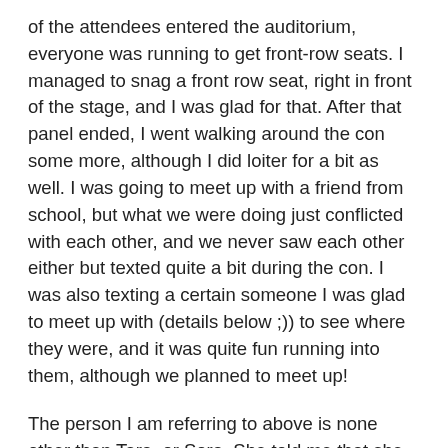of the attendees entered the auditorium, everyone was running to get front-row seats. I managed to snag a front row seat, right in front of the stage, and I was glad for that. After that panel ended, I went walking around the con some more, although I did loiter for a bit as well. I was going to meet up with a friend from school, but what we were doing just conflicted with each other, and we never saw each other either but texted quite a bit during the con. I was also texting a certain someone I was glad to meet up with (details below ;)) to see where they were, and it was quite fun running into them, although we planned to meet up!
The person I am referring to above is none other than Tara, or Sora. She told me that she was going to MegaCon weeks ago, and I told her that I bought tickets for Friday, so we exchanged numbers. I kept asking her every so often where she was (since she came later than I did), and then I texted her around the area where wristband pickup was when she told me she arrived on site. She told me that she was just